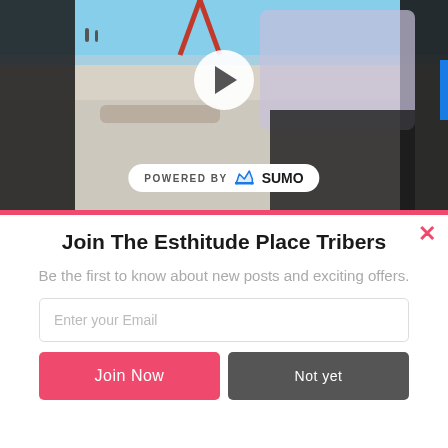[Figure (photo): Beach scene with a person standing on white sand, ocean in background, play button overlay indicating video. 'POWERED BY SUMO' badge at bottom of image.]
Join The Esthitude Place Tribers
Be the first to know about new posts and exciting offers.
Enter your Email
Join Now
Not yet